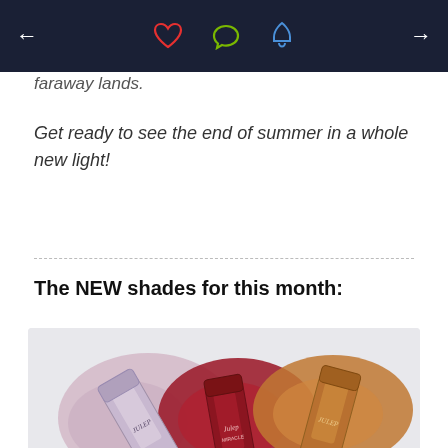← ♥ 💬 🔔 →
faraway lands.
Get ready to see the end of summer in a whole new light!
The NEW shades for this month:
[Figure (photo): Four Julep nail polish bottles with colorful nail polish swatches in silver/pink, red, copper/gold, and teal colors arranged on a light gray background]